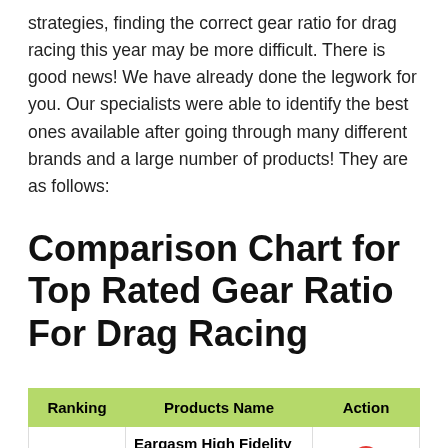strategies, finding the correct gear ratio for drag racing this year may be more difficult. There is good news! We have already done the legwork for you. Our specialists were able to identify the best ones available after going through many different brands and a large number of products! They are as follows:
Comparison Chart for Top Rated Gear Ratio For Drag Racing
| Ranking | Products Name | Action |
| --- | --- | --- |
|  | Eargasm High Fidelity Earplugs for Concerts Musicians |  |